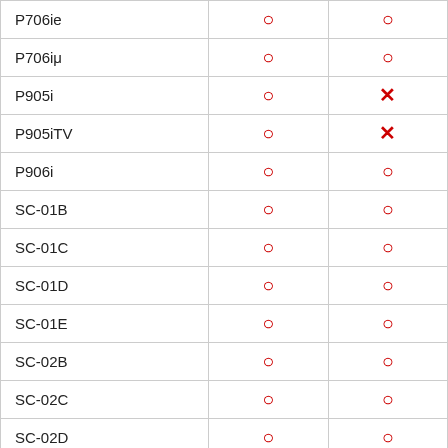| Model | Col1 | Col2 |
| --- | --- | --- |
| P706ie | ○ | ○ |
| P706iμ | ○ | ○ |
| P905i | ○ | ✗ |
| P905iTV | ○ | ✗ |
| P906i | ○ | ○ |
| SC-01B | ○ | ○ |
| SC-01C | ○ | ○ |
| SC-01D | ○ | ○ |
| SC-01E | ○ | ○ |
| SC-02B | ○ | ○ |
| SC-02C | ○ | ○ |
| SC-02D | ○ | ○ |